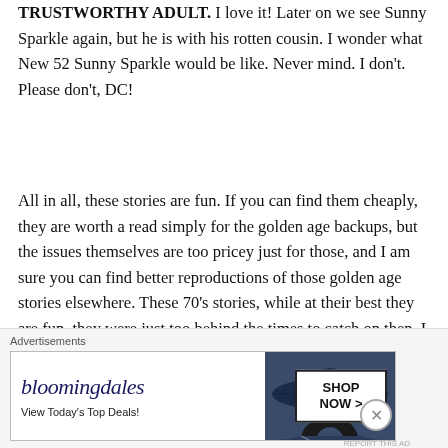TRUSTWORTHY ADULT. I love it! Later on we see Sunny Sparkle again, but he is with his rotten cousin. I wonder what New 52 Sunny Sparkle would be like. Never mind. I don't. Please don't, DC!
All in all, these stories are fun. If you can find them cheaply, they are worth a read simply for the golden age backups, but the issues themselves are too pricey just for those, and I am sure you can find better reproductions of those golden age stories elsewhere. These 70's stories, while at their best they are fun, they were just too behind the times to catch on then, I am sure. For instance, I decided it would be neat while writing this blog to listen to
[Figure (other): Bloomingdale's advertisement banner with logo, 'View Today's Top Deals!' text, woman wearing large brimmed hat, and 'SHOP NOW >' button]